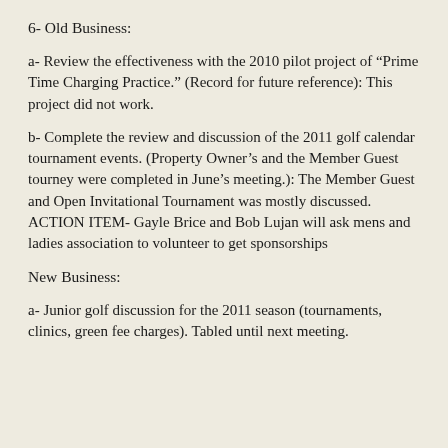6- Old Business:
a- Review the effectiveness with the 2010 pilot project of “Prime Time Charging Practice.” (Record for future reference): This project did not work.
b- Complete the review and discussion of the 2011 golf calendar tournament events. (Property Owner’s and the Member Guest tourney were completed in June’s meeting.): The Member Guest and Open Invitational Tournament was mostly discussed. ACTION ITEM- Gayle Brice and Bob Lujan will ask mens and ladies association to volunteer to get sponsorships
New Business:
a- Junior golf discussion for the 2011 season (tournaments, clinics, green fee charges). Tabled until next meeting.